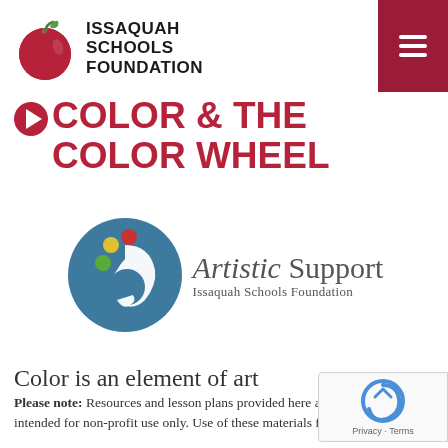[Figure (logo): Issaquah Schools Foundation logo: red apple with leaf on left, bold text ISSAQUAH SCHOOLS FOUNDATION on right]
COLOR & THE COLOR WHEEL
[Figure (logo): Artistic Support Issaquah Schools Foundation logo: teal circle with artist palette and face silhouette, colored dots (yellow, red, green), text 'Artistic Support Issaquah Schools Foundation']
Color is an element of art
Please note:  Resources and lesson plans provided here are intended for non-profit use only. Use of these materials for